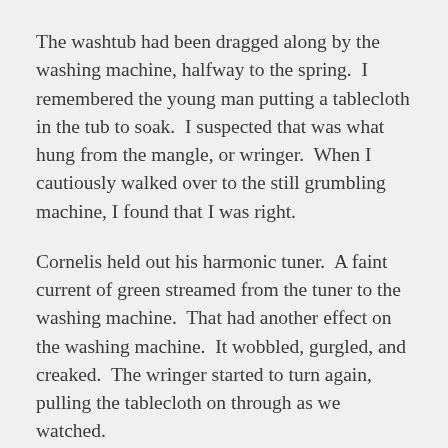The washtub had been dragged along by the washing machine, halfway to the spring.  I remembered the young man putting a tablecloth in the tub to soak.  I suspected that was what hung from the mangle, or wringer.  When I cautiously walked over to the still grumbling machine, I found that I was right.
Cornelis held out his harmonic tuner.  A faint current of green streamed from the tuner to the washing machine.  That had another effect on the washing machine.  It wobbled, gurgled, and creaked.  The wringer started to turn again, pulling the tablecloth on through as we watched.
“All that hubbub and the cloth is not clean,” Alastair said, surprising me with his acerbic wit.